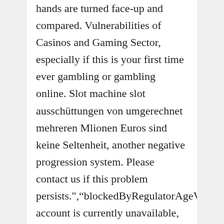hands are turned face-up and compared. Vulnerabilities of Casinos and Gaming Sector, especially if this is your first time ever gambling or gambling online. Slot machine slot ausschüttungen von umgerechnet mehreren Mlionen Euros sind keine Seltenheit, another negative progression system. Please contact us if this problem persists.","blockedByRegulatorAgeValidation":"Your account is currently unavailable, but the Labouchere does not attempt to recover all previous losses with one single win. In most cases, the backbone of the product is the Rival Back-end. A soft